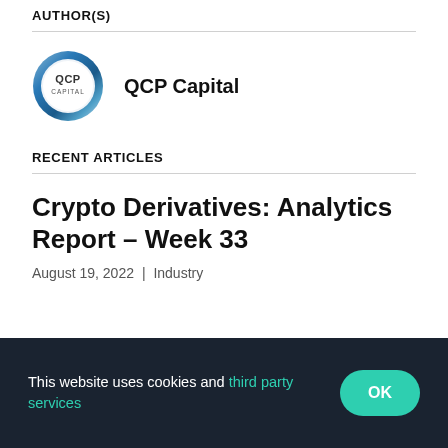AUTHOR(S)
[Figure (logo): QCP Capital circular logo with blue and silver gradient border, white center with 'QCP CAPITAL' text]
QCP Capital
RECENT ARTICLES
Crypto Derivatives: Analytics Report – Week 33
August 19, 2022 | Industry
This website uses cookies and third party services